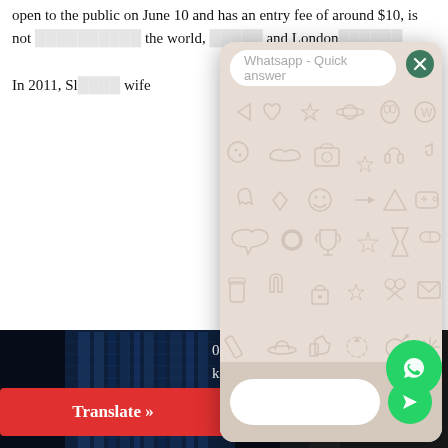open to the public on June 10 and has an entry fee of around $10, is not [obscured] the world, [obscured] and London[obscured]
In 2011, Sl[obscured] wife
[Figure (screenshot): WhatsApp Quick Answer overlay panel with patterned background, close button, title bar reading 'Whatsapp - Quick answer', emoji/icon decorative pattern, and bottom input bar with send button]
[Figure (photo): Dark photo of modern glass skyscraper building at night with blue lighting, and another structure with a mesh/dotted facade]
Translate »
0 works of art by some of the best known [obscured] from the 15th through the 20th century